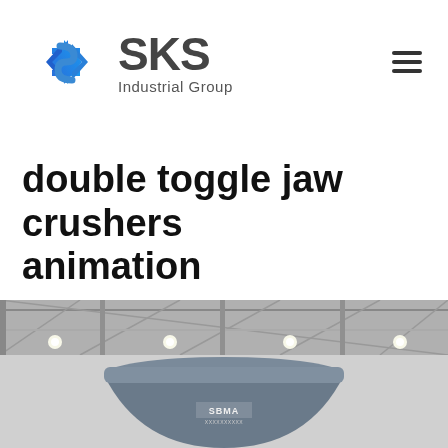[Figure (logo): SKS Industrial Group logo with blue angular bracket/arrow icon and gray SKS text with 'Industrial Group' subtitle]
double toggle jaw crushers animation
[Figure (photo): Industrial crusher equipment inside a large factory/warehouse building with steel roof trusses and lights visible. A large grey cone-shaped crusher with SBMA branding is visible in the foreground.]